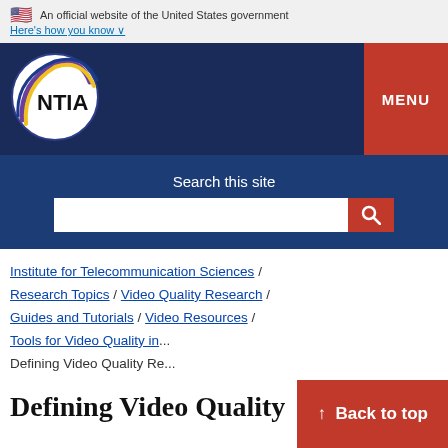An official website of the United States government
Here's how you know ∨
[Figure (logo): NTIA logo — circular design with yellow and purple arcs on white, NTIA text in black]
MENU
Search this site
Institute for Telecommunication Sciences / Research Topics / Video Quality Research / Guides and Tutorials / Video Resources / Tools for Video Quality in ... (breadcrumb)
Defining Video Quality Re...
↑ Back to top
Defining Video Quality